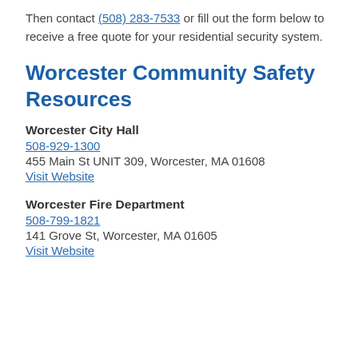Then contact (508) 283-7533 or fill out the form below to receive a free quote for your residential security system.
Worcester Community Safety Resources
Worcester City Hall
508-929-1300
455 Main St UNIT 309, Worcester, MA 01608
Visit Website
Worcester Fire Department
508-799-1821
141 Grove St, Worcester, MA 01605
Visit Website